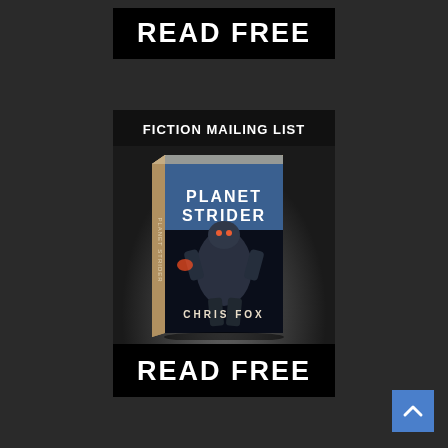READ FREE
[Figure (illustration): Book cover advertisement for 'Planet Strider' by Chris Fox, labeled 'Fiction Mailing List'. The cover shows a large mech/robot warrior in an action scene. The advertisement has a black background and shows the book in 3D perspective.]
READ FREE